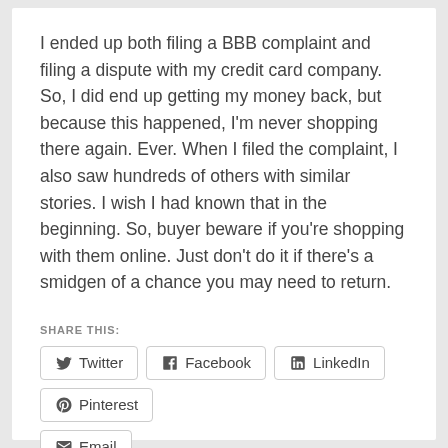I ended up both filing a BBB complaint and filing a dispute with my credit card company. So, I did end up getting my money back, but because this happened, I'm never shopping there again. Ever. When I filed the complaint, I also saw hundreds of others with similar stories. I wish I had known that in the beginning. So, buyer beware if you're shopping with them online. Just don't do it if there's a smidgen of a chance you may need to return.
SHARE THIS:
Twitter
Facebook
LinkedIn
Pinterest
Email
Loading...